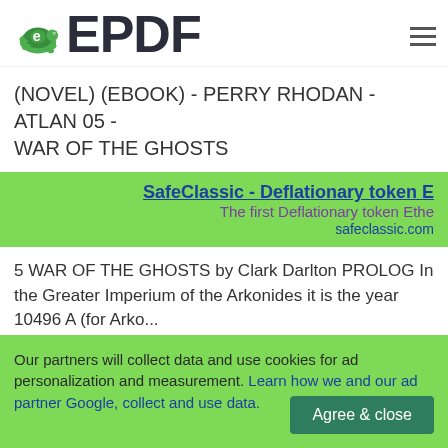ePDF
(NOVEL) (EBOOK) - PERRY RHODAN - ATLAN 05 - WAR OF THE GHOSTS
[Figure (other): Advertisement banner for SafeClassic - Deflationary token Ethereum, safeclassic.com]
5 WAR OF THE GHOSTS by Clark Darlton PROLOG In the Greater Imperium of the Arkonides it is the year 10496 A (for Arko...
Author: Perry Rhodan
19 downloads  346 Views  209KB Size  Report  This
Our partners will collect data and use cookies for ad personalization and measurement. Learn how we and our ad partner Google, collect and use data.